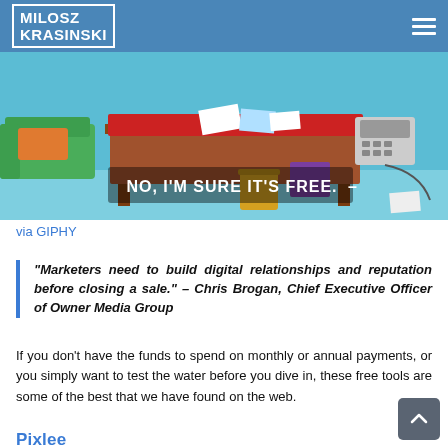MILOSZ KRASINSKI
[Figure (illustration): Cartoon illustration (Simpsons-style) showing a messy desk with items scattered on it, a telephone, couch in background. Text overlay reads: NO, I'M SURE IT'S FREE.]
via GIPHY
“Marketers need to build digital relationships and reputation before closing a sale.” – Chris Brogan, Chief Executive Officer of Owner Media Group
If you don’t have the funds to spend on monthly or annual payments, or you simply want to test the water before you dive in, these free tools are some of the best that we have found on the web.
Pixlee